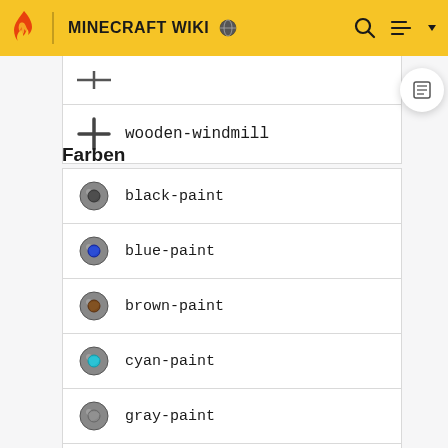MINECRAFT WIKI
wooden-windmill
Farben
black-paint
blue-paint
brown-paint
cyan-paint
gray-paint
green-paint